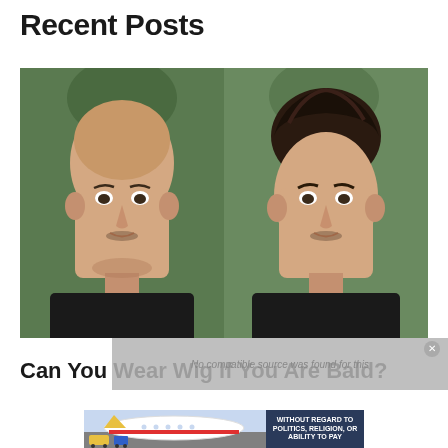Recent Posts
[Figure (photo): Side-by-side comparison of the same man, bald on the left and with dark hair on the right, both wearing black shirts against a green bokeh background]
No compatible source was found for this
Can You Wear Wig If You Are Bald?
[Figure (photo): Advertisement banner showing an airplane on a tarmac with colorful ground vehicles, alongside text reading WITHOUT REGARD TO POLITICS, RELIGION, OR ABILITY TO PAY]